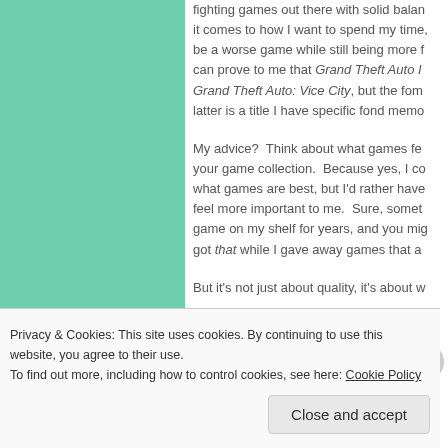[Figure (other): Green sidebar/panel on the left side of the page]
fighting games out there with solid balance, when it comes to how I want to spend my time, it can be a worse game while still being more fun. If you can prove to me that Grand Theft Auto III beats Grand Theft Auto: Vice City, but the former over the latter is a title I have specific fond memories of...
My advice? Think about what games feel right for your game collection. Because yes, I could debate what games are best, but I'd rather have games that feel more important to me. Sure, sometimes I kept a game on my shelf for years, and you might ask why I got that while I gave away games that a...
But it's not just about quality, it's about w...
Privacy & Cookies: This site uses cookies. By continuing to use this website, you agree to their use.
To find out more, including how to control cookies, see here: Cookie Policy
Close and accept